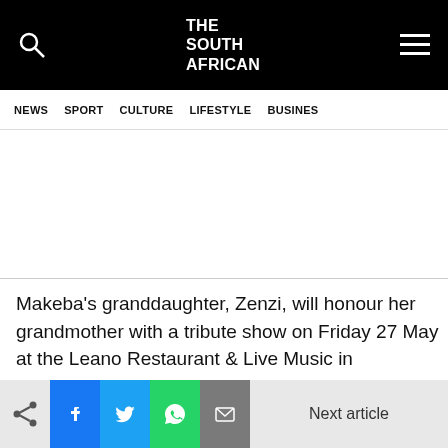THE SOUTH AFRICAN
NEWS  SPORT  CULTURE  LIFESTYLE  BUSINESS
Makeba's granddaughter, Zenzi, will honour her grandmother with a tribute show on Friday 27 May at the Leano Restaurant & Live Music in Braamfontein, Johannesburg.
Next article